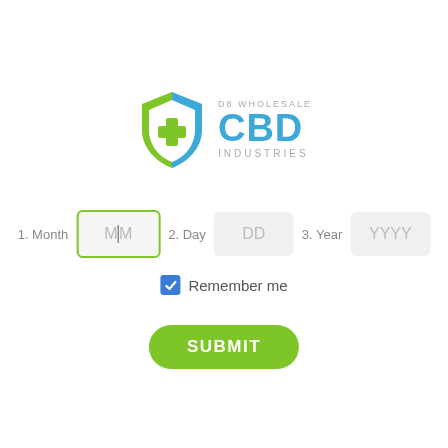[Figure (logo): D8 Wholesale CBD Industries logo — green and blue shield with medical cross, next to text 'D8 WHOLESALE CBD INDUSTRIES']
1. Month MM 2. Day DD 3. Year YYYY
Remember me
SUBMIT